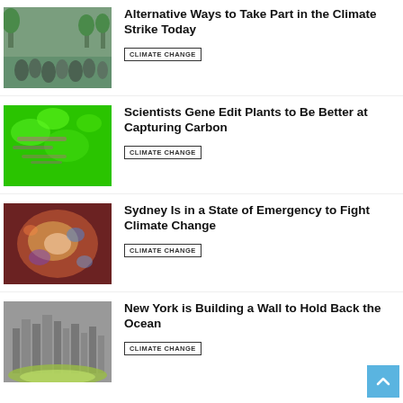[Figure (photo): Crowd of people at climate strike march]
Alternative Ways to Take Part in the Climate Strike Today
CLIMATE CHANGE
[Figure (photo): Green-tinted scientific image of plants for carbon capture]
Scientists Gene Edit Plants to Be Better at Capturing Carbon
CLIMATE CHANGE
[Figure (photo): Colorful satellite image of Sydney]
Sydney Is in a State of Emergency to Fight Climate Change
CLIMATE CHANGE
[Figure (photo): Aerial rendering of New York City with green coastal wall]
New York is Building a Wall to Hold Back the Ocean
CLIMATE CHANGE